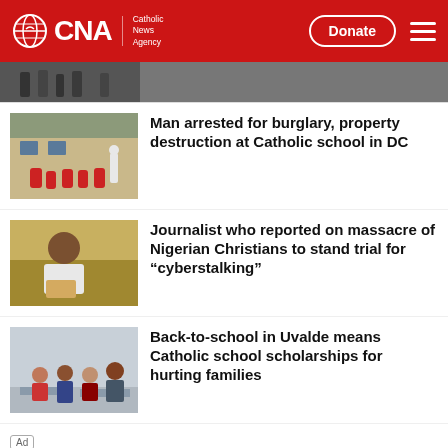CNA Catholic News Agency — Donate
[Figure (photo): Partial photo at top of news feed, partially cropped]
Man arrested for burglary, property destruction at Catholic school in DC
Journalist who reported on massacre of Nigerian Christians to stand trial for “cyberstalking”
Back-to-school in Uvalde means Catholic school scholarships for hurting families
Ad
[Figure (screenshot): Ad banner with text: God is in the details.]